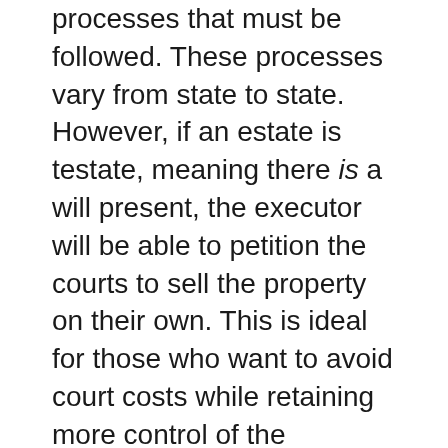processes that must be followed. These processes vary from state to state. However, if an estate is testate, meaning there is a will present, the executor will be able to petition the courts to sell the property on their own. This is ideal for those who want to avoid court costs while retaining more control of the process. For those who want to save even more money, quickly selling your inherited property to a professional buyer who is familiar with the probate process may be the best way to go. When you work with Creo Home Buyers, you won't have any of the expenses you will likely incur when working with a Parkville real estate agent. For example, you won't be found